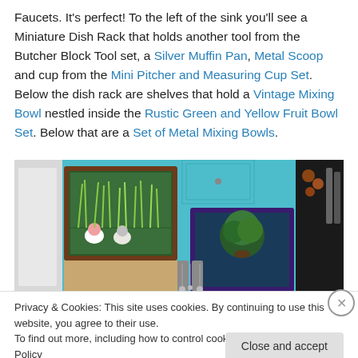Faucets. It's perfect! To the left of the sink you'll see a Miniature Dish Rack that holds another tool from the Butcher Block Tool set, a Silver Muffin Pan, Metal Scoop and cup from the Mini Pitcher and Measuring Cup Set. Below the dish rack are shelves that hold a Vintage Mixing Bowl nestled inside the Rustic Green and Yellow Fruit Bowl Set. Below that are a Set of Metal Mixing Bowls.
[Figure (photo): A miniature dollhouse kitchen scene showing teal/turquoise cabinets with framed artwork, small decorative items, and kitchen accessories visible on shelves.]
Privacy & Cookies: This site uses cookies. By continuing to use this website, you agree to their use. To find out more, including how to control cookies, see here: Cookie Policy